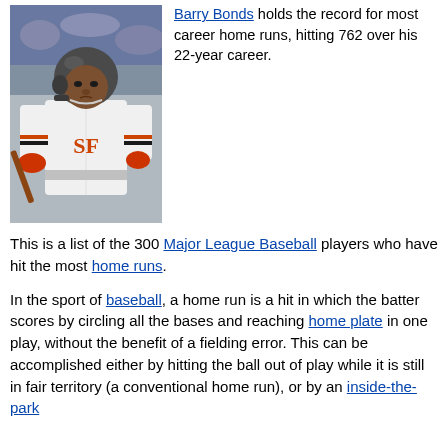[Figure (photo): Barry Bonds in San Francisco Giants uniform wearing batting helmet, holding bat, in stadium setting]
Barry Bonds holds the record for most career home runs, hitting 762 over his 22-year career.
This is a list of the 300 Major League Baseball players who have hit the most home runs.
In the sport of baseball, a home run is a hit in which the batter scores by circling all the bases and reaching home plate in one play, without the benefit of a fielding error. This can be accomplished either by hitting the ball out of play while it is still in fair territory (a conventional home run), or by an inside-the-park home run.